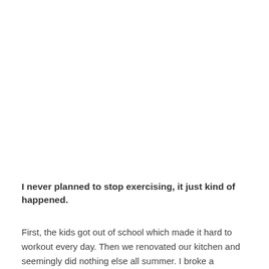I never planned to stop exercising, it just kind of happened.
First, the kids got out of school which made it hard to workout every day. Then we renovated our kitchen and seemingly did nothing else all summer. I broke a